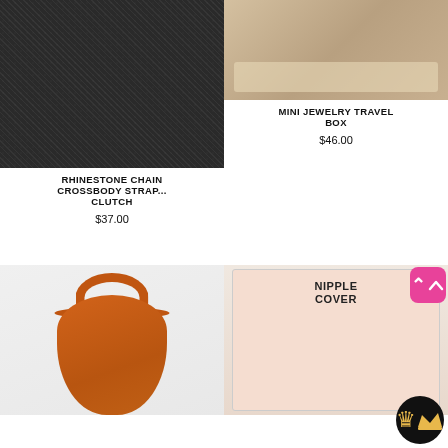[Figure (photo): Rhinestone chain crossbody strap clutch bag on gray background]
RHINESTONE CHAIN CROSSBODY STRAP... CLUTCH
$37.00
[Figure (photo): Mini jewelry travel box open showing compartments]
MINI JEWELRY TRAVEL BOX
$46.00
[Figure (photo): Orange ruched hobo bag with gathered handle]
[Figure (photo): Nipple cover product packaging box in pink with illustration]
[Figure (other): Pink app back-to-top button]
[Figure (other): Black circle crown badge/logo]